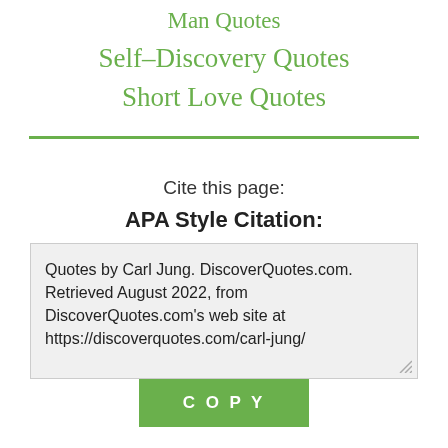Man Quotes
Self-Discovery Quotes
Short Love Quotes
Cite this page:
APA Style Citation:
Quotes by Carl Jung. DiscoverQuotes.com. Retrieved August 2022, from DiscoverQuotes.com's web site at https://discoverquotes.com/carl-jung/